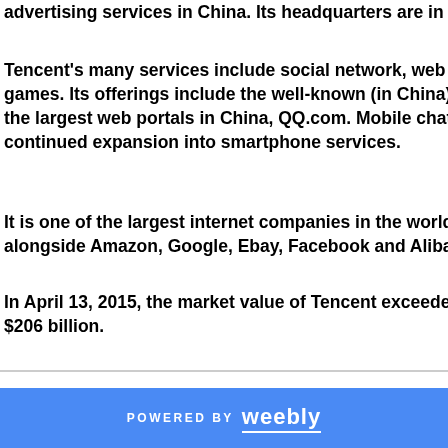advertising services in China. Its headquarters are in Nasham...
Tencent's many services include social network, web portals, games. Its offerings include the well-known (in China) instant the largest web portals in China, QQ.com. Mobile chat servic continued expansion into smartphone services.
It is one of the largest internet companies in the world alongside Amazon, Google, Ebay, Facebook and Alibaba.
In April 13, 2015, the market value of Tencent exceeded US $ $206 billion.
[Figure (other): Dark navy blue banner bar]
POWERED BY weebly